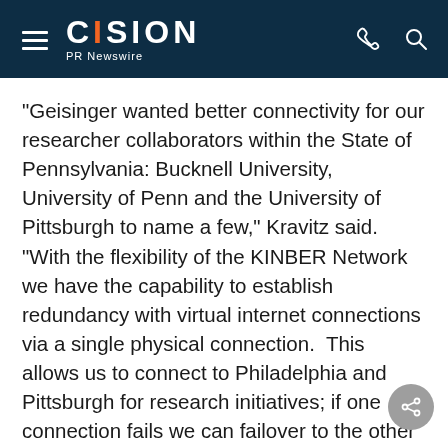CISION PR Newswire
"Geisinger wanted better connectivity for our researcher collaborators within the State of Pennsylvania: Bucknell University, University of Penn and the University of Pittsburgh to name a few," Kravitz said.  "With the flexibility of the KINBER Network we have the capability to establish redundancy with virtual internet connections via a single physical connection.  This allows us to connect to Philadelphia and Pittsburgh for research initiatives; if one connection fails we can failover to the other connection.  In the past we would have been connected solely thru an Internet point of presence in New York City with limited redundancy."